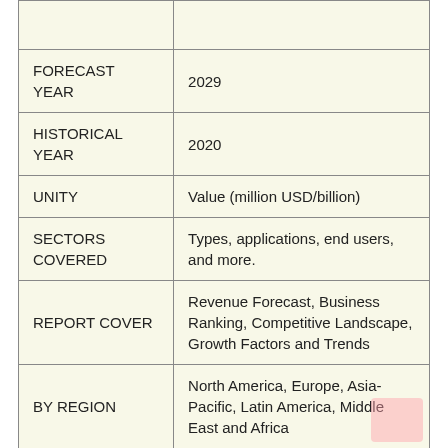|  |  |
| --- | --- |
| FORECAST YEAR | 2029 |
| HISTORICAL YEAR | 2020 |
| UNITY | Value (million USD/billion) |
| SECTORS COVERED | Types, applications, end users, and more. |
| REPORT COVER | Revenue Forecast, Business Ranking, Competitive Landscape, Growth Factors and Trends |
| BY REGION | North America, Europe, Asia-Pacific, Latin America, Middle East and Africa |
|  | Free report customization |